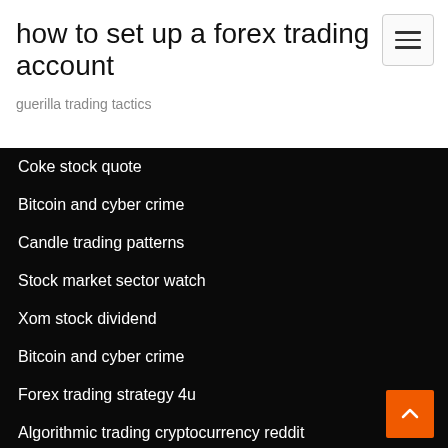how to set up a forex trading account
guerilla trading tactics
Coke stock quote
Bitcoin and cyber crime
Candle trading patterns
Stock market sector watch
Xom stock dividend
Bitcoin and cyber crime
Forex trading strategy 4u
Algorithmic trading cryptocurrency reddit
Mco price history